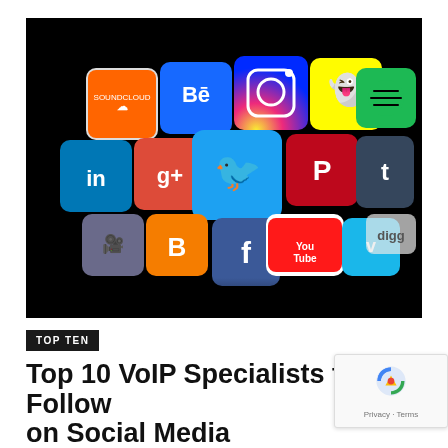[Figure (photo): A 3D Rubik's cube-style arrangement of social media logo tiles (SoundCloud, Behance, Instagram, Snapchat, Spotify, StumbleUpon, LinkedIn, Google+, Twitter, Pinterest, Tumblr, WordPress, Facebook, Blogger, YouTube, Vimeo, Digg, and others) on a black background.]
TOP TEN
Top 10 VoIP Specialists to Follow on Social Media